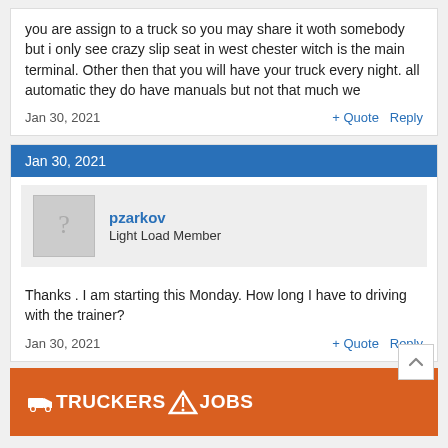you are assign to a truck so you may share it woth somebody but i only see crazy slip seat in west chester witch is the main terminal. Other then that you will have your truck every night. all automatic they do have manuals but not that much we
Jan 30, 2021    + Quote   Reply
Jan 30, 2021
pzarkov
Light Load Member
Thanks . I am starting this Monday. How long I have to driving with the trainer?
Jan 30, 2021    + Quote   Reply
[Figure (logo): Truckers Jobs banner with truck icon logo in orange background]